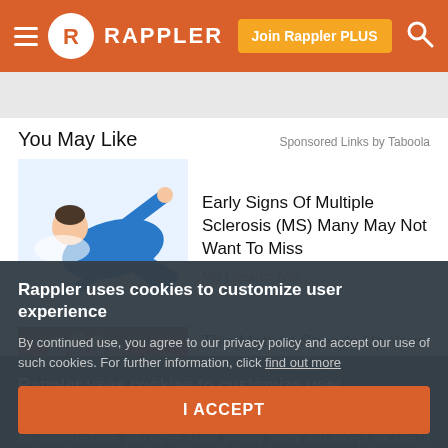Rappler — navigation bar with hamburger menu, logo, Join Rappler PLUS button, and search icon
You May Like
Sponsored Links by Taboola
[Figure (illustration): Illustration of a person in blue clothing lying on the ground, as if having a seizure or fall]
Early Signs Of Multiple Sclerosis (MS) Many May Not Want To Miss
MS | Search Ads
[Figure (photo): Photo showing hands and red fabric, partial view of a person]
This Method Speeds Up Your Weight Loss. Try it now!
Rappler uses cookies to customize user experience
By continued use, you agree to our privacy policy and accept our use of such cookies. For further information, click find out more
I ACCEPT